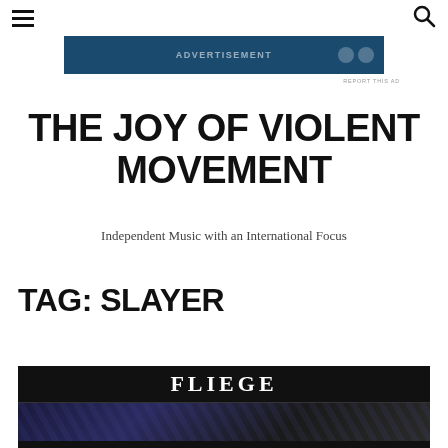☰ [menu icon] | 🔍 [search icon]
[Figure (other): Advertisement banner with dark teal/navy background and partially visible text]
REPORT THIS AD
THE JOY OF VIOLENT MOVEMENT
Independent Music with an International Focus
TAG: SLAYER
[Figure (other): Album or article image with dark background showing the word FLIEGE in white serif letters, with a dark blue/purple image strip below]